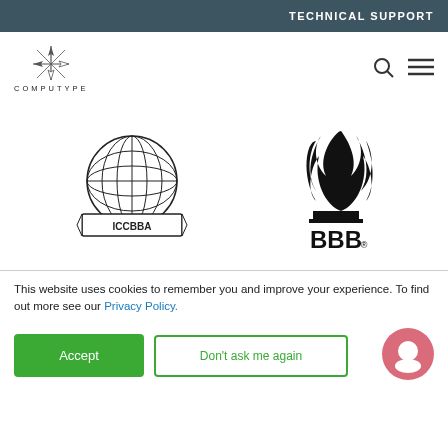TECHNICAL SUPPORT
[Figure (logo): Computype logo with compass rose icon and text COMPUTYPE]
[Figure (logo): ICCBBA globe logo with banner]
[Figure (logo): BBB Better Business Bureau torch logo]
[Figure (logo): Medical Alley Association logo with M in square]
[Figure (logo): Avery Dennison logo with triangle icon]
This website uses cookies to remember you and improve your experience. To find out more see our Privacy Policy.
Accept
Don't ask me again